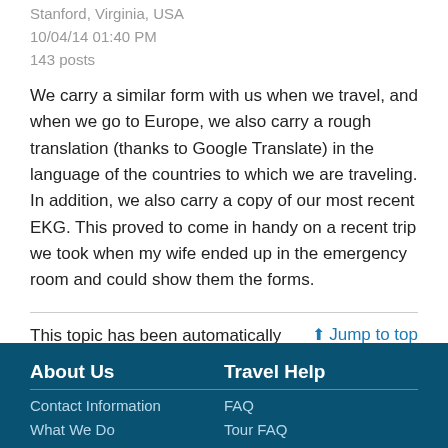Stanford, Virginia, USA
10/04/14 01:40 PM
143 posts
We carry a similar form with us when we travel, and when we go to Europe, we also carry a rough translation (thanks to Google Translate) in the language of the countries to which we are traveling. In addition, we also carry a copy of our most recent EKG. This proved to come in handy on a recent trip we took when my wife ended up in the emergency room and could show them the forms.
This topic has been automatically closed due to a period of inactivity.
Jump to top
About Us
Travel Help
Contact Information
What We Do
FAQ
Tour FAQ